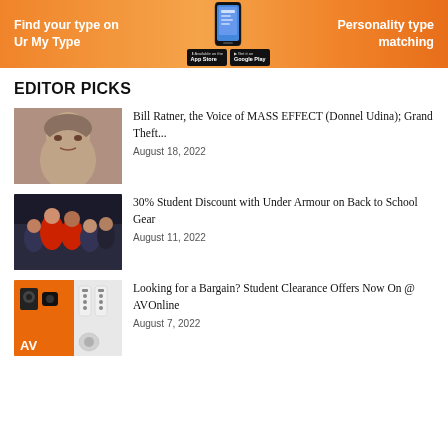[Figure (infographic): Orange banner advertisement for Ur My Type app - 'Find your type on Ur My Type' on the left, phone graphic in center with App Store and Google Play badges, 'Personality type matching' on the right]
EDITOR PICKS
[Figure (photo): Close-up photo of an elderly man with grey hair]
Bill Ratner, the Voice of MASS EFFECT (Donnel Udina); Grand Theft...
August 18, 2022
[Figure (photo): Photo of basketball players in a group, one wearing a red jersey]
30% Student Discount with Under Armour on Back to School Gear
August 11, 2022
[Figure (photo): AV Online product image on orange background showing speakers and remote controls with AV logo]
Looking for a Bargain? Student Clearance Offers Now On @ AVOnline
August 7, 2022